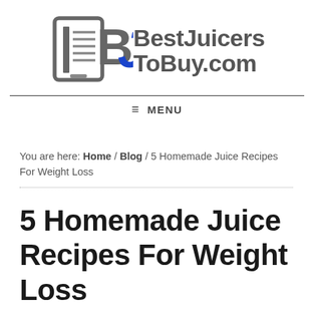BestJuicersToBuy.com
≡ MENU
You are here: Home / Blog / 5 Homemade Juice Recipes For Weight Loss
5 Homemade Juice Recipes For Weight Loss